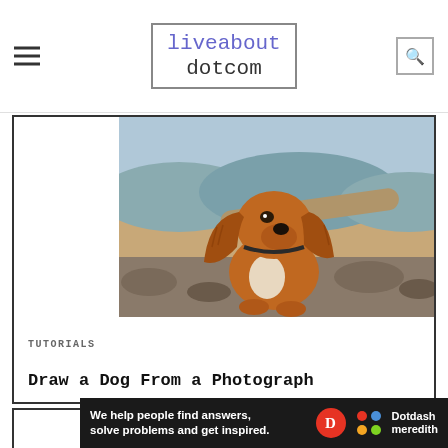liveabout dotcom
[Figure (photo): A golden/red Cocker Spaniel puppy sitting on rocky ground near a driftwood log with a lake and mountains in the background.]
TUTORIALS
Draw a Dog From a Photograph
[Figure (photo): A classical painting depicting a woman in white headwrap and striped garment, looking downward, in a dark background setting.]
Ad
We help people find answers, solve problems and get inspired. Dotdash meredith